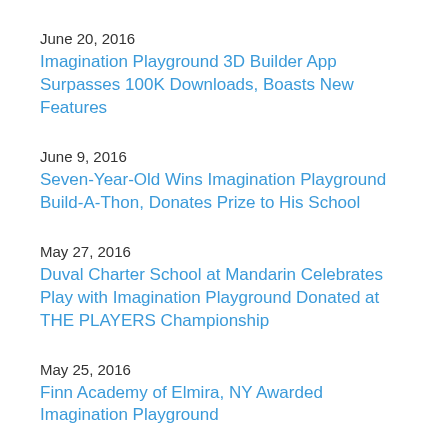June 20, 2016
Imagination Playground 3D Builder App Surpasses 100K Downloads, Boasts New Features
June 9, 2016
Seven-Year-Old Wins Imagination Playground Build-A-Thon, Donates Prize to His School
May 27, 2016
Duval Charter School at Mandarin Celebrates Play with Imagination Playground Donated at THE PLAYERS Championship
May 25, 2016
Finn Academy of Elmira, NY Awarded Imagination Playground